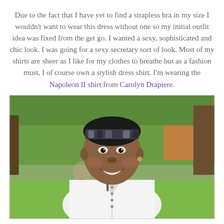Due to the fact that I have yet to find a strapless bra in my size I wouldn't want to wear this dress without one so my initial outfit idea was fixed from the get go. I wanted a sexy, sophisticated and chic look. I was going for a sexy secretary sort of look. Most of my shirts are sheer as I like for my clothes to breathe but as a fashion must, I of course own a stylish dress shirt. I'm wearing the Napoleon II shirt from Carolyn Drapiere.
[Figure (photo): A smiling woman wearing a white button-up dress shirt and a patterned headband, photographed outdoors in a park setting with green trees and grass in the background.]